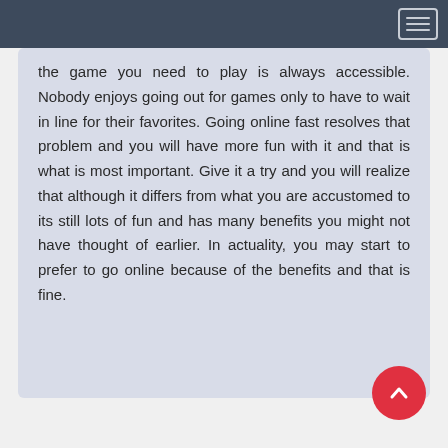Navigation bar with hamburger menu icon
the game you need to play is always accessible. Nobody enjoys going out for games only to have to wait in line for their favorites. Going online fast resolves that problem and you will have more fun with it and that is what is most important. Give it a try and you will realize that although it differs from what you are accustomed to its still lots of fun and has many benefits you might not have thought of earlier. In actuality, you may start to prefer to go online because of the benefits and that is fine.